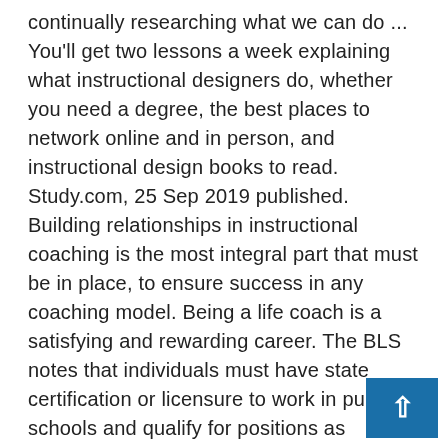continually researching what we can do ... You'll get two lessons a week explaining what instructional designers do, whether you need a degree, the best places to network online and in person, and instructional design books to read. Study.com, 25 Sep 2019 published. Building relationships in instructional coaching is the most integral part that must be in place, to ensure success in any coaching model. Being a life coach is a satisfying and rewarding career. The BLS notes that individuals must have state certification or licensure to work in public schools and qualify for positions as instructional coaches. A coaching relationship is ... The listings below may include sponsored content but are popular choices among our users. Where Will You ... Common courses in these programs include curriculum design, educational research methods, and field experience or practicum sessions. 21 Dec 2020 accessed. ROLE: Instructional Coaches document utilizes the components within the Da